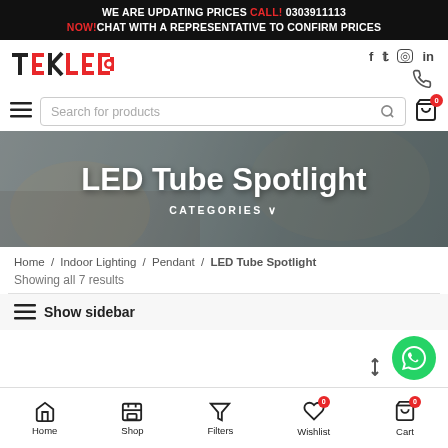WE ARE UPDATING PRICES CALL! 0303911113 NOW! CHAT WITH A REPRESENTATIVE TO CONFIRM PRICES
[Figure (logo): TEKLED logo in red and black]
Social icons: Facebook, Twitter, Instagram, LinkedIn, WhatsApp
Search for products
[Figure (photo): Hero banner with blurred interior room background showing LED Tube Spotlight category page header]
LED Tube Spotlight
CATEGORIES ∨
Home / Indoor Lighting / Pendant / LED Tube Spotlight
Showing all 7 results
Show sidebar
Home  Shop  Filters  Wishlist  Cart